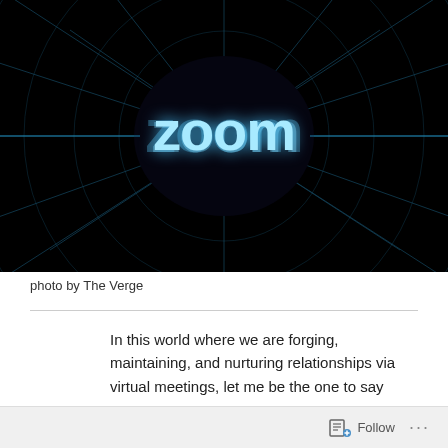[Figure (photo): Dark sci-fi style image with blue neon grid lines radiating outward from center, with the word 'zoom' in glowing blue text in the middle]
photo by The Verge
In this world where we are forging, maintaining, and nurturing relationships via virtual meetings, let me be the one to say